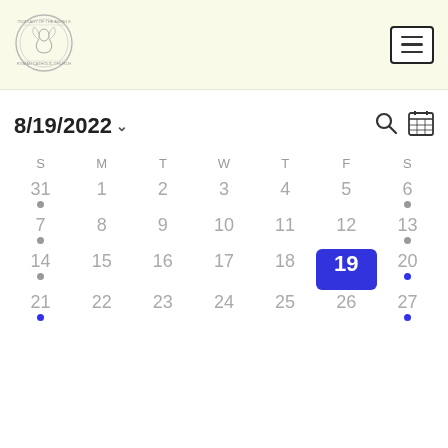[Figure (logo): Our Lady of the Angels Roman Catholic Church circular logo with angel illustration]
[Figure (other): Hamburger menu icon button with three horizontal lines inside a rounded rectangle border]
8/19/2022 ∨
[Figure (other): Search icon (magnifying glass)]
[Figure (other): Calendar grid icon]
| S | M | T | W | T | F | S |
| --- | --- | --- | --- | --- | --- | --- |
| 31 | 1 | 2 | 3 | 4 | 5 | 6 |
| 7 | 8 | 9 | 10 | 11 | 12 | 13 |
| 14 | 15 | 16 | 17 | 18 | 19 | 20 |
| 21 | 22 | 23 | 24 | 25 | 26 | 27 |